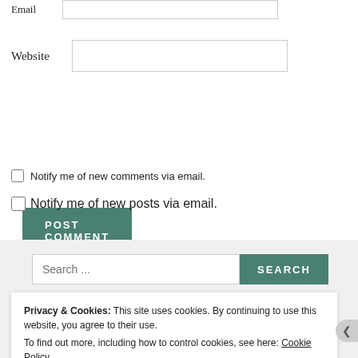Email
Website
POST COMMENT
Notify me of new comments via email.
Notify me of new posts via email.
Search ...
SEARCH
Privacy & Cookies: This site uses cookies. By continuing to use this website, you agree to their use.
To find out more, including how to control cookies, see here: Cookie Policy
Close and accept